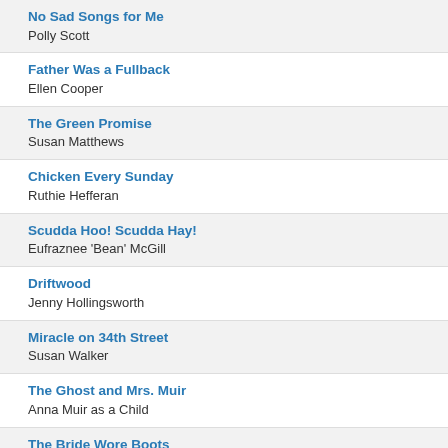No Sad Songs for Me
Polly Scott
Father Was a Fullback
Ellen Cooper
The Green Promise
Susan Matthews
Chicken Every Sunday
Ruthie Hefferan
Scudda Hoo! Scudda Hay!
Eufraznee 'Bean' McGill
Driftwood
Jenny Hollingsworth
Miracle on 34th Street
Susan Walker
The Ghost and Mrs. Muir
Anna Muir as a Child
The Bride Wore Boots
Carol Warren
Tomorrow Is Forever
Margaret Ludwig
Happy Land
Little Girl Who Drops Ice Cream Cone (uncredited)